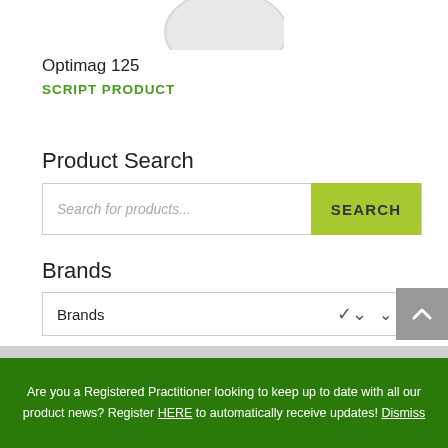[Figure (other): Partial product image at top of page, cropped circle/oval shape]
Optimag 125
SCRIPT PRODUCT
Product Search
Search for products...
Brands
Brands
Are you a Registered Practitioner looking to keep up to date with all our product news? Register HERE to automatically receive updates! Dismiss